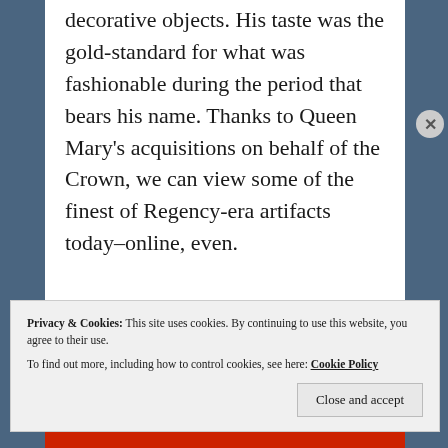decorative objects. His taste was the gold-standard for what was fashionable during the period that bears his name. Thanks to Queen Mary's acquisitions on behalf of the Crown, we can view some of the finest of Regency-era artifacts today–online, even.
The examples I've noted below were all
Privacy & Cookies: This site uses cookies. By continuing to use this website, you agree to their use. To find out more, including how to control cookies, see here: Cookie Policy
Close and accept
Advertisements